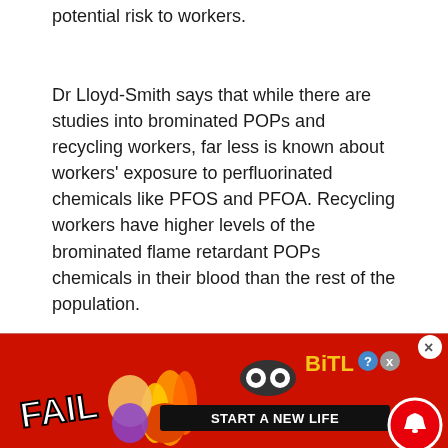potential risk to workers.
Dr Lloyd-Smith says that while there are studies into brominated POPs and recycling workers, far less is known about workers' exposure to perfluorinated chemicals like PFOS and PFOA. Recycling workers have higher levels of the brominated flame retardant POPs chemicals in their blood than the rest of the population.
[Figure (screenshot): Advertisement banner for BitLife game showing 'FAIL' text, flames, cartoon character, BitLife logo, and 'START A NEW LIFE' tagline on a red background. Close button (x) in upper right corner, notification bell icon at bottom right.]